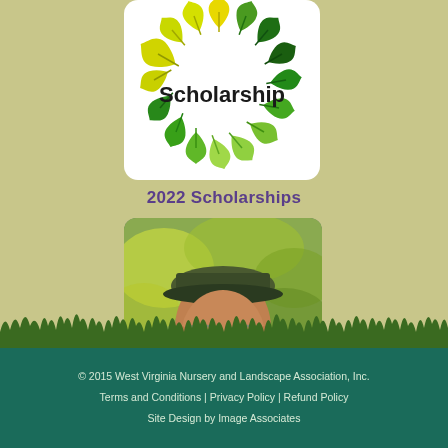[Figure (logo): Scholarship logo with maple leaves arranged in a circle and the word 'Scholarship' in the center, on white rounded rectangle background]
2022 Scholarships
[Figure (photo): Portrait photo of a man with beard, glasses, and a cap, wearing camouflage shirt, outdoors with green/yellow foliage background]
© 2015 West Virginia Nursery and Landscape Association, Inc.
Terms and Conditions | Privacy Policy | Refund Policy
Site Design by Image Associates